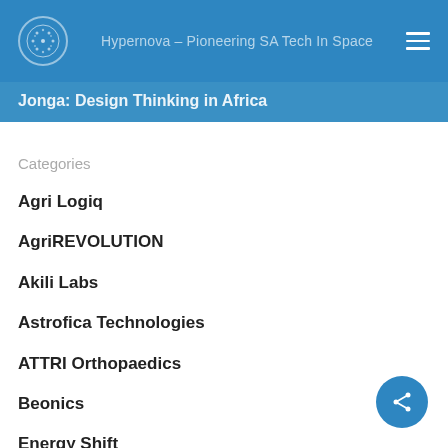Hypernova – Pioneering SA Tech In Space
Jonga: Design Thinking in Africa
Categories
Agri Logiq
AgriREVOLUTION
Akili Labs
Astrofica Technologies
ATTRI Orthopaedics
Beonics
Energy Shift